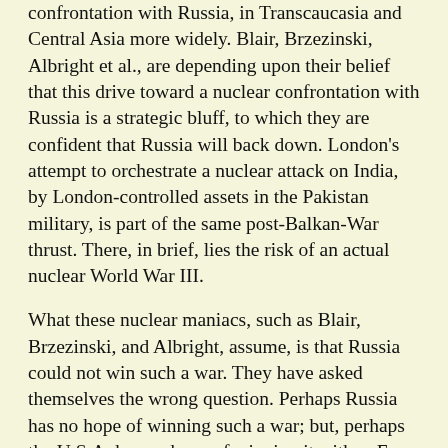confrontation with Russia, in Transcaucasia and Central Asia more widely. Blair, Brzezinski, Albright et al., are depending upon their belief that this drive toward a nuclear confrontation with Russia is a strategic bluff, to which they are confident that Russia will back down. London's attempt to orchestrate a nuclear attack on India, by London-controlled assets in the Pakistan military, is part of the same post-Balkan-War thrust. There, in brief, lies the risk of an actual nuclear World War III.
What these nuclear maniacs, such as Blair, Brzezinski, and Albright, assume, is that Russia could not win such a war. They have asked themselves the wrong question. Perhaps Russia has no hope of winning such a war; but, perhaps the U.S.A. has no hope of winning it, either. Even if the U.S.A. might appear to secure a victory in such a showdown, just as the famous King Pyrrhus defeated the Romans in one battle, perhaps the U.S.A. would not long outlive the end of such a military confrontation.
Go back to 1905, where we may find a comparable case. Read the discussion between the two...